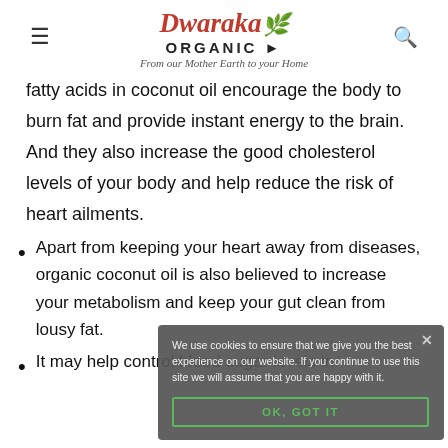Dwaraka ORGANIC — From our Mother Earth to your Home
fatty acids in coconut oil encourage the body to burn fat and provide instant energy to the brain. And they also increase the good cholesterol levels of your body and help reduce the risk of heart ailments.
Apart from keeping your heart away from diseases, organic coconut oil is also believed to increase your metabolism and keep your gut clean from lousy fat.
It may help control blood sugar levels in
Cookie popup: We use cookies to ensure that we give you the best experience on our website. If you continue to use this site we will assume that you are happy with it. OK, GOT IT